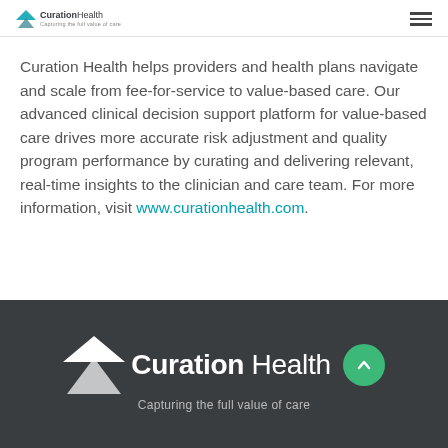Curation Health [logo + hamburger menu]
Curation Health helps providers and health plans navigate and scale from fee-for-service to value-based care. Our advanced clinical decision support platform for value-based care drives more accurate risk adjustment and quality program performance by curating and delivering relevant, real-time insights to the clinician and care team. For more information, visit www.curationhealth.com.
Curation Health — Capturing the full value of care